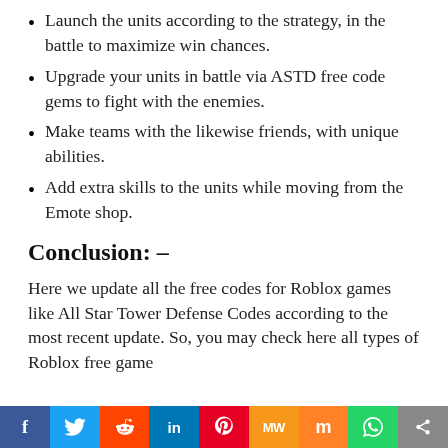Launch the units according to the strategy, in the battle to maximize win chances.
Upgrade your units in battle via ASTD free code gems to fight with the enemies.
Make teams with the likewise friends, with unique abilities.
Add extra skills to the units while moving from the Emote shop.
Conclusion: –
Here we update all the free codes for Roblox games like All Star Tower Defense Codes according to the most recent update. So, you may check here all types of Roblox free game